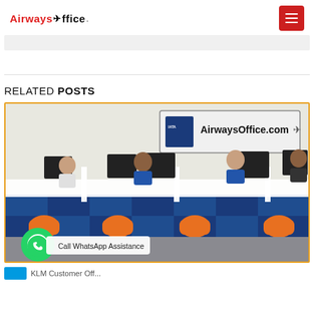Airways Office
[Figure (photo): An office interior with people sitting at white desks with orange chairs, working at computers. A sign on the wall reads AirwaysOffice.com with IATA logo. Blue tile pattern on the desk fronts. A WhatsApp button overlay at the bottom reads 'Call WhatsApp Assistance'.]
RELATED POSTS
KLM Customer Off...